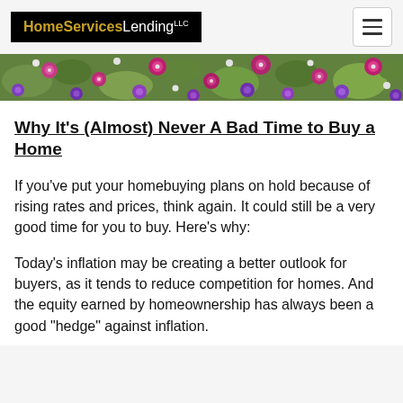HomeServices Lending
[Figure (photo): Floral banner image with colorful flowers including pink and purple blooms against green foliage]
Why It's (Almost) Never A Bad Time to Buy a Home
If you've put your homebuying plans on hold because of rising rates and prices, think again. It could still be a very good time for you to buy. Here's why:
Today's inflation may be creating a better outlook for buyers, as it tends to reduce competition for homes. And the equity earned by homeownership has always been a good "hedge" against inflation.